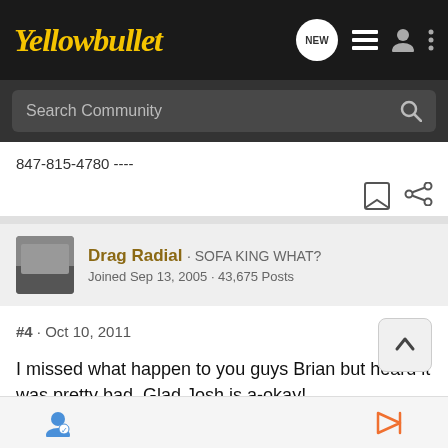Yellowbullet
Search Community
847-815-4780 ----
Drag Radial · SOFA KING WHAT?
Joined Sep 13, 2005 · 43,675 Posts
#4 · Oct 10, 2011
I missed what happen to you guys Brian but heard it was pretty bad. Glad Josh is a-okay!